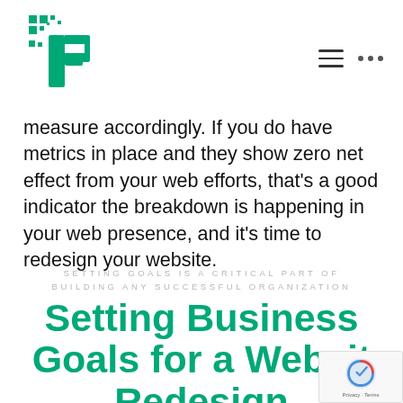[Logo: PixelPlex] [hamburger menu] [dots menu]
measure accordingly. If you do have metrics in place and they show zero net effect from your web efforts, that's a good indicator the breakdown is happening in your web presence, and it's time to redesign your website.
SETTING GOALS IS A CRITICAL PART OF BUILDING ANY SUCCESSFUL ORGANIZATION
Setting Business Goals for a Website Redesign